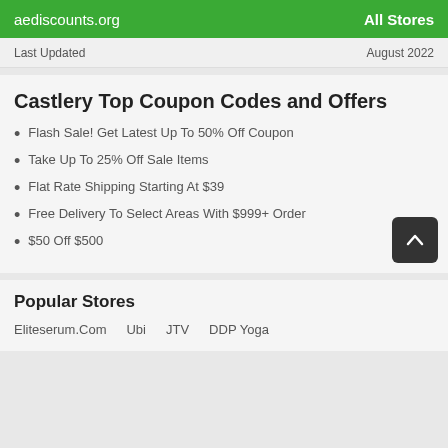aediscounts.org   All Stores
Last Updated   August 2022
Castlery Top Coupon Codes and Offers
Flash Sale! Get Latest Up To 50% Off Coupon
Take Up To 25% Off Sale Items
Flat Rate Shipping Starting At $39
Free Delivery To Select Areas With $999+ Order
$50 Off $500
Popular Stores
Eliteserum.Com   Ubi   JTV   DDP Yoga